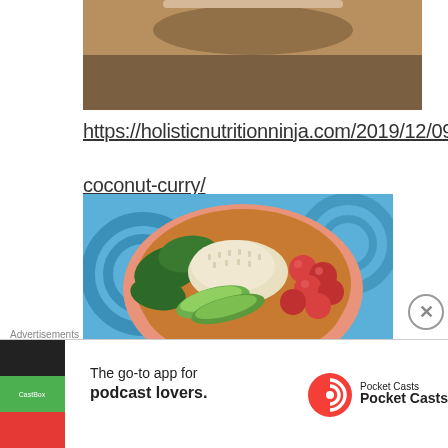[Figure (photo): Top portion of a food photo, partially cropped, showing a dish on a wooden surface]
https://holisticnutritionninja.com/2019/12/09/
coconut-curry/
[Figure (photo): Bowl of food featuring rice, spinach, cherry tomatoes, avocado slices, and lentil curry on a decorative blue swirl placemat]
Advertisements
[Figure (infographic): Pocket Casts advertisement: 'The go-to app for podcast lovers.' with Pocket Casts logo and brand name]